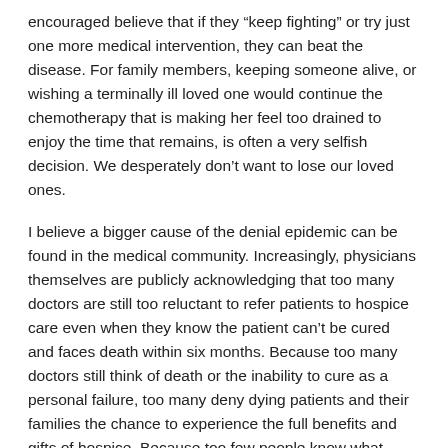encouraged believe that if they “keep fighting” or try just one more medical intervention, they can beat the disease. For family members, keeping someone alive, or wishing a terminally ill loved one would continue the chemotherapy that is making her feel too drained to enjoy the time that remains, is often a very selfish decision. We desperately don’t want to lose our loved ones.
I believe a bigger cause of the denial epidemic can be found in the medical community. Increasingly, physicians themselves are publicly acknowledging that too many doctors are still too reluctant to refer patients to hospice care even when they know the patient can’t be cured and faces death within six months. Because too many doctors still think of death or the inability to cure as a personal failure, too many deny dying patients and their families the chance to experience the full benefits and gifts of hospice. Because too few people know what hospice is, and too many believe it is something it isn’t, not enough are asking for it if their physicians don’t suggest it.
Yes, it is difficult to accept mortality and talk about dying, but